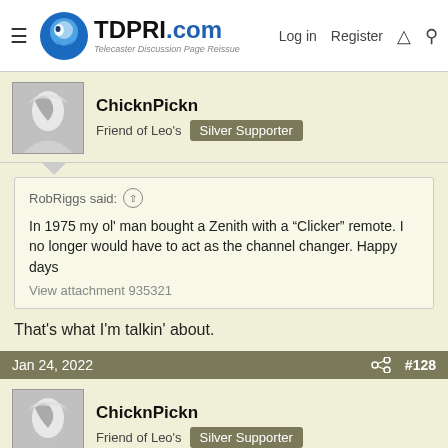TDPRI.com — Telecaster Discussion Page Reissue — Log in | Register
ChicknPickn
Friend of Leo's  Silver Supporter
RobRiggs said: ↑

In 1975 my ol' man bought a Zenith with a "Clicker" remote. I no longer would have to act as the channel changer. Happy days
View attachment 935321
That's what I'm talkin' about.
Jan 24, 2022  #128
ChicknPickn
Friend of Leo's  Silver Supporter
A man tells his buddy he should come over to the house - - he has something amazing to show him
The friend arrives and he's led to the den. He's shown a strange